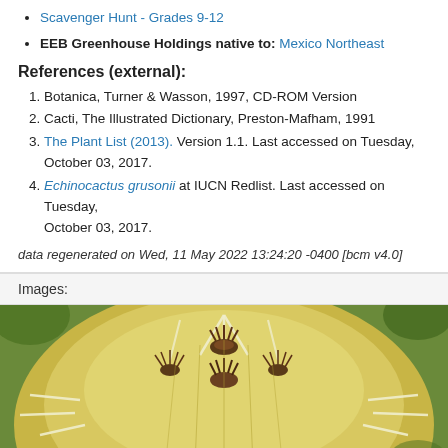Scavenger Hunt - Grades 9-12
EEB Greenhouse Holdings native to: Mexico Northeast
References (external):
1. Botanica, Turner & Wasson, 1997, CD-ROM Version
2. Cacti, The Illustrated Dictionary, Preston-Mafham, 1991
3. The Plant List (2013). Version 1.1. Last accessed on Tuesday, October 03, 2017.
4. Echinocactus grusonii at IUCN Redlist. Last accessed on Tuesday, October 03, 2017.
data regenerated on Wed, 11 May 2022 13:24:20 -0400 [bcm v4.0]
Images:
[Figure (photo): Close-up photograph of a golden barrel cactus (Echinocactus grusonii) showing yellow-white spines and brown spine clusters at the top, viewed from above.]